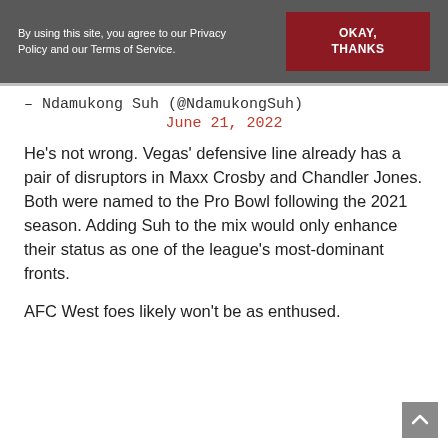By using this site, you agree to our Privacy Policy and our Terms of Service. OKAY, THANKS
– Ndamukong Suh (@NdamukongSuh)
June 21, 2022
He's not wrong. Vegas' defensive line already has a pair of disruptors in Maxx Crosby and Chandler Jones. Both were named to the Pro Bowl following the 2021 season. Adding Suh to the mix would only enhance their status as one of the league's most-dominant fronts.
AFC West foes likely won't be as enthused.